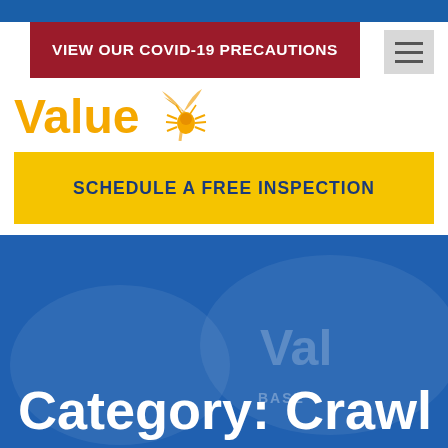[Figure (screenshot): Website screenshot showing a pest control company called Value with a COVID-19 precautions banner, navigation hamburger menu, schedule a free inspection button, and hero image with blue overlay showing Category: Crawl text]
VIEW OUR COVID-19 PRECAUTIONS
[Figure (logo): Value pest control logo with yellow text and palm tree/bug illustration]
SCHEDULE A FREE INSPECTION
Category: Crawl